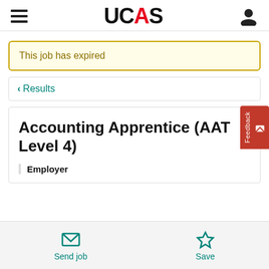UCAS
This job has expired
< Results
Accounting Apprentice (AAT Level 4)
Employer
Send job
Save